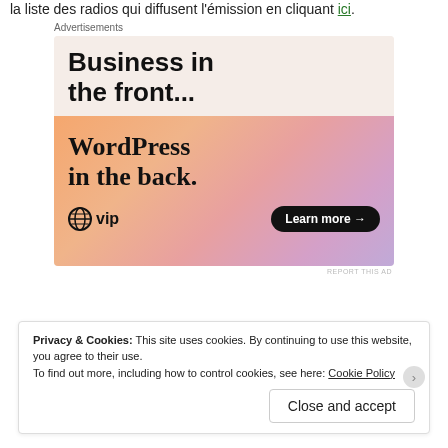la liste des radios qui diffusent l'émission en cliquant ici.
[Figure (screenshot): Advertisement banner showing 'Business in the front... WordPress in the back.' with WordPress VIP branding and a 'Learn more' button on an orange-pink gradient background.]
Privacy & Cookies: This site uses cookies. By continuing to use this website, you agree to their use.
To find out more, including how to control cookies, see here: Cookie Policy
Close and accept